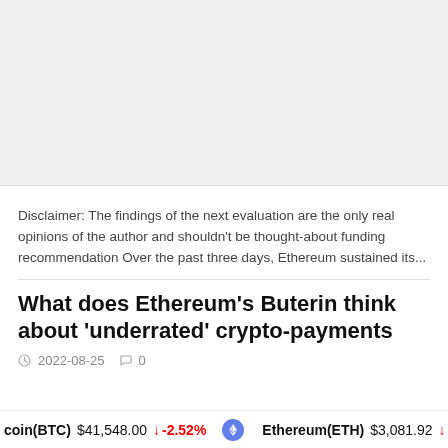[Figure (other): Gray placeholder image area at top of page]
Disclaimer: The findings of the next evaluation are the only real opinions of the author and shouldn't be thought-about funding recommendation Over the past three days, Ethereum sustained its...
What does Ethereum's Buterin think about 'underrated' crypto-payments
2022-08-25  0
coin(BTC) $41,548.00 ↓ -2.52%  Ethereum(ETH) $3,081.92 ↓ -5.14%